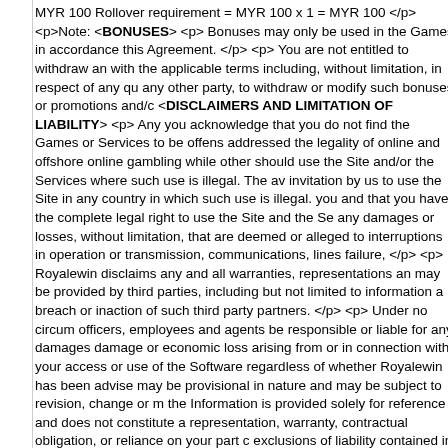MYR 100 Rollover requirement = MYR 100 x 1 = MYR 100 </p><p>Note: <span>BONUSES</span> <p> Bonuses may only be used in the Games in accordance this Agreement. </p> <p> You are not entitled to withdraw an with the applicable terms including, without limitation, in respect of any qu any other party, to withdraw or modify such bonuses or promotions and/c <span>DISCLAIMERS AND LIMITATION OF LIABILITY</span> <p> Any you acknowledge that you do not find the Games or Services to be offens addressed the legality of online and offshore online gambling while other should use the Site and/or the Services where such use is illegal. The av invitation by us to use the Site in any country in which such use is illegal. you and that you have the complete legal right to use the Site and the Se any damages or losses, without limitation, that are deemed or alleged to interruptions in operation or transmission, communications, lines failure, </p> <p> Royalewin disclaims any and all warranties, representations an may be provided by third parties, including but not limited to information a breach or inaction of such third party partners. </p> <p> Under no circum officers, employees and agents be responsible or liable for any damages damage or economic loss arising from or in connection with your access or use of the Software regardless of whether Royalewin has been advise may be provisional in nature and may be subject to revision, change or m the Information is provided solely for reference and does not constitute a representation, warranty, contractual obligation, or reliance on your part c exclusions of liability contained in this Agreement represent a fair and rea consideration, including without limitation the value of the consideration p enforceable to the extent permitted by applicable law. </p> <p> If there is on our server shall govern the result of the Game. Moreover, you unders records shall be the final authority in determining the terms of your partic occurred. </p> <p> Royalewin disclaims any and all warranties, expresse you with no warranty or representation whatsoever regarding its quality, f you with service of the highest quality, safety and security, we make no w corrected or that the Services found therein shall be free from viruses or to the Services, temporarily or permanently, in its absolute discretion with liability in any way by reason of any loss or effect on the